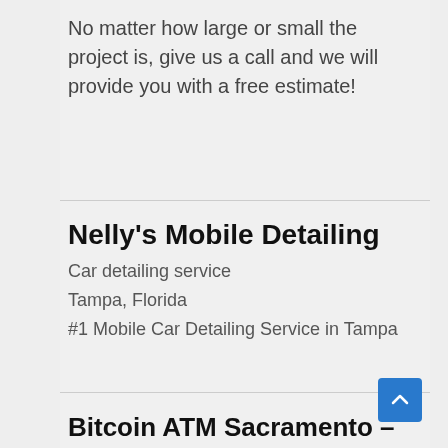No matter how large or small the project is, give us a call and we will provide you with a free estimate!
Nelly's Mobile Detailing
Car detailing service
Tampa, Florida
#1 Mobile Car Detailing Service in Tampa
Bitcoin ATM Sacramento – Coinhub
ATM
Sacramento, CA